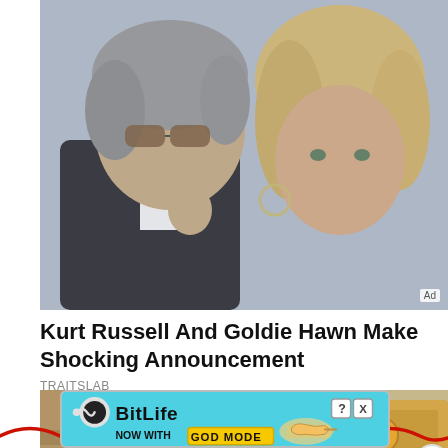[Figure (photo): Kurt Russell and Goldie Hawn, celebrity couple photo. Man with grey hair wearing sunglasses and dark suit jacket, woman with blonde hair. Ad badge in bottom right corner.]
Kurt Russell And Goldie Hawn Make Shocking Announcement
TRAITSLAB
[Figure (photo): Woman with dark hair in a home interior, with wood paneling and decorative circular artwork on wall. Red wavy line overlay and close X button.]
[Figure (screenshot): BitLife advertisement banner - NOW WITH GOD MODE, on cyan/turquoise background with hand pointer graphic and question mark/X buttons.]